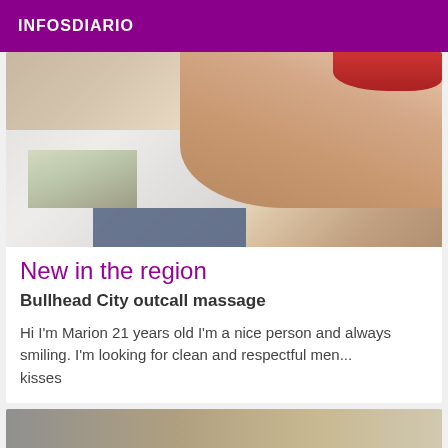INFOSDIARIO
[Figure (photo): Close-up photograph showing a person's body, a white surface, and a blue fabric at the bottom, with a red element in the top right corner.]
New in the region
Bullhead City outcall massage
Hi I'm Marion 21 years old I'm a nice person and always smiling. I'm looking for clean and respectful men... kisses
[Figure (photo): Partial view of another listing photo, cropped at the bottom of the page.]